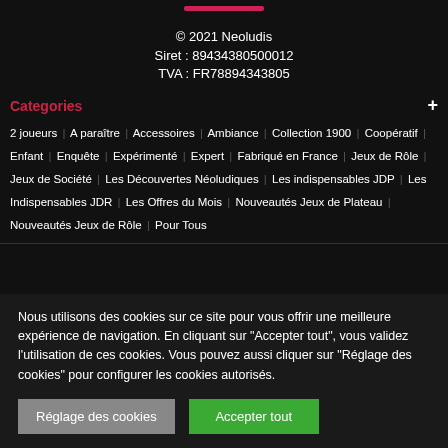[Figure (other): Pink rounded button/bar at top center]
© 2021 Neoludis
Siret : 89434380500012
TVA : FR78894343805
Categories
2 joueurs | A paraître | Accessoires | Ambiance | Collection 1900 | Coopératif | Enfant | Enquête | Expérimenté | Expert | Fabriqué en France | Jeux de Rôle | Jeux de Société | Les Découvertes Néoludiques | Les indispensables JDP | Les Indispensables JDR | Les Offres du Mois | Nouveautés Jeux de Plateau | Nouveautés Jeux de Rôle | Pour Tous
Nous utilisons des cookies sur ce site pour vous offrir une meilleure expérience de navigation. En cliquant sur "Accepter tout", vous validez l'utilisation de ces cookies. Vous pouvez aussi cliquer sur "Réglage des cookies" pour configurer les cookies autorisés.
Réglage des cookies
Accepter tout